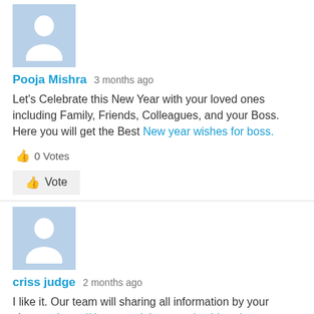[Figure (illustration): Default user avatar placeholder image with light blue background and white silhouette]
Pooja Mishra 3 months ago
Let's Celebrate this New Year with your loved ones including Family, Friends, Colleagues, and your Boss. Here you will get the Best New year wishes for boss.
👍 0 Votes
👍 Vote
[Figure (illustration): Default user avatar placeholder image with light blue background and white silhouette]
criss judge 2 months ago
I like it. Our team will sharing all information by your viewers. https://despreserialero.com/mahkum/
👍 0 Votes
👍 Vote